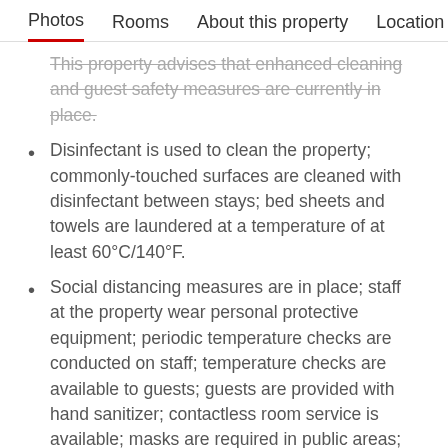Photos   Rooms   About this property   Location
This property advises that enhanced cleaning and guest safety measures are currently in place.
Disinfectant is used to clean the property; commonly-touched surfaces are cleaned with disinfectant between stays; bed sheets and towels are laundered at a temperature of at least 60°C/140°F.
Social distancing measures are in place; staff at the property wear personal protective equipment; periodic temperature checks are conducted on staff; temperature checks are available to guests; guests are provided with hand sanitizer; contactless room service is available; masks are required in public areas; reservations are required for some onsite…